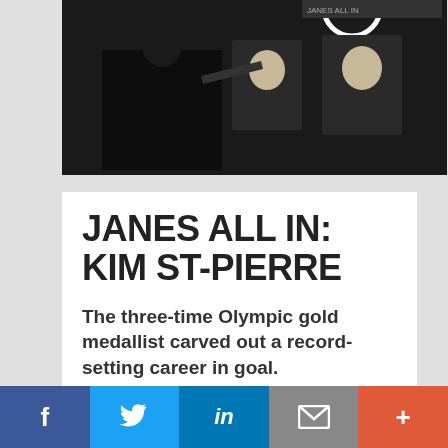[Figure (photo): Black and white photo showing a person pointing at illustrated portraits/drawings on a wall or board, appearing to be sports-related portraits]
JANES ALL IN: KIM ST-PIERRE
The three-time Olympic gold medallist carved out a record-setting career in goal.
[Figure (photo): Photo showing a circular rack of hockey jerseys and caps in red and blue colors, viewed from above in a circular arrangement]
f  [Twitter bird]  in  [mail]  +